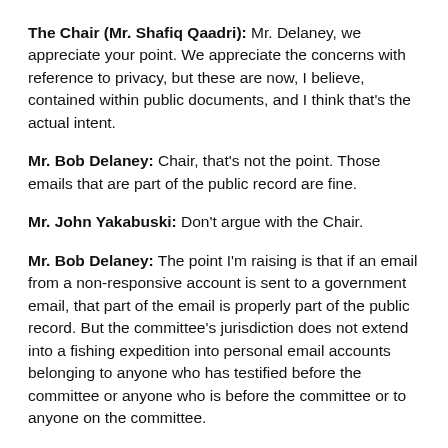The Chair (Mr. Shafiq Qaadri): Mr. Delaney, we appreciate your point. We appreciate the concerns with reference to privacy, but these are now, I believe, contained within public documents, and I think that's the actual intent.
Mr. Bob Delaney: Chair, that's not the point. Those emails that are part of the public record are fine.
Mr. John Yakabuski: Don't argue with the Chair.
Mr. Bob Delaney: The point I'm raising is that if an email from a non-responsive account is sent to a government email, that part of the email is properly part of the public record. But the committee's jurisdiction does not extend into a fishing expedition into personal email accounts belonging to anyone who has testified before the committee or anyone who is before the committee or to anyone on the committee.
The Chair (Mr. Shafiq Qaadri): Thank you, Mr. Delaney, Mr.